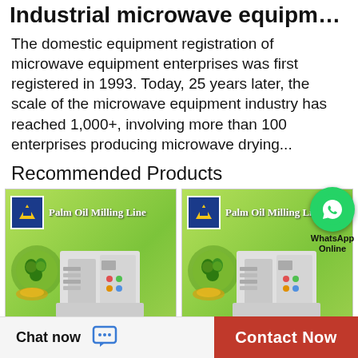Industrial microwave equipment manuf...
The domestic equipment registration of microwave equipment enterprises was first registered in 1993. Today, 25 years later, the scale of the microwave equipment industry has reached 1,000+, involving more than 100 enterprises producing microwave drying...
Recommended Products
[Figure (photo): Product image of Palm Oil Milling Line machine with logo and contact info (Jayson, Skype: taishan0072)]
[Figure (photo): Second product image of Palm Oil Milling Line machine with logo, contact info, and WhatsApp Online overlay]
Chat now
Contact Now